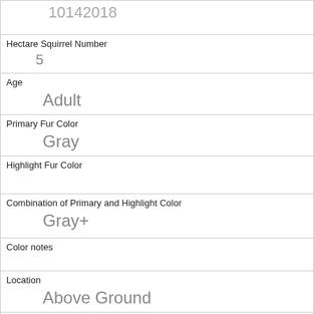| 10142018 |
| Hectare Squirrel Number | 5 |
| Age | Adult |
| Primary Fur Color | Gray |
| Highlight Fur Color |  |
| Combination of Primary and Highlight Color | Gray+ |
| Color notes |  |
| Location | Above Ground |
| Above Ground Sighter Measurement | 25 |
| Specific Location |  |
| Running |  |